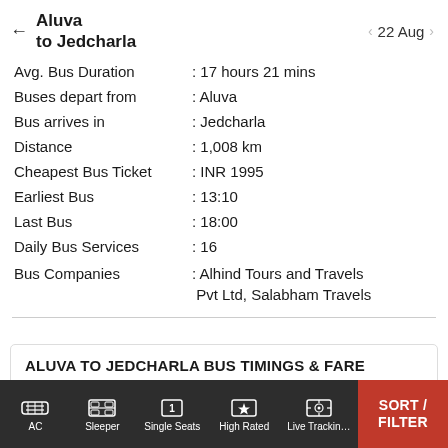Aluva to Jedcharla — 22 Aug
Avg. Bus Duration : 17 hours 21 mins
Buses depart from : Aluva
Bus arrives in : Jedcharla
Distance : 1,008 km
Cheapest Bus Ticket : INR 1995
Earliest Bus : 13:10
Last Bus : 18:00
Daily Bus Services : 16
Bus Companies : Alhind Tours and Travels Pvt Ltd, Salabham Travels
ALUVA TO JEDCHARLA BUS TIMINGS & FARE
AC  Sleeper  Single Seats  High Rated  Live Tracking  SORT / FILTER